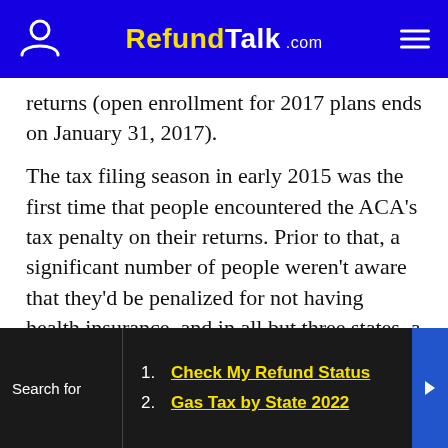RefundTalk.com
returns (open enrollment for 2017 plans ends on January 31, 2017).
The tax filing season in early 2015 was the first time that people encountered the ACA’s tax penalty on their returns. Prior to that, a significant number of people weren’t aware that they’d be penalized for not having health insurance, and in all but three states, a special enrollment period was available to allow people facing 2014 penalties to enroll in a plan for 2015.
1. Check My Refund Status
2. Gas Tax by State 2022